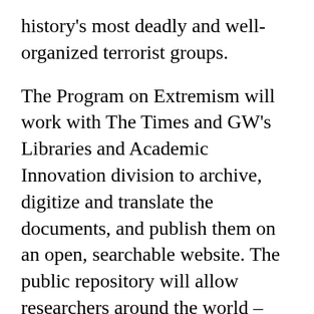history's most deadly and well-organized terrorist groups.

The Program on Extremism will work with The Times and GW's Libraries and Academic Innovation division to archive, digitize and translate the documents, and publish them on an open, searchable website. The public repository will allow researchers around the world – including those in Syria and Iraq – to access a wide array of documents that provide invaluable evidence on the activities and atrocities carried out by the Islamic State group. The documents, most of which are written in Arabic, will be posted in their original form after GW conducts a thorough analysis of the documents to help ensure information